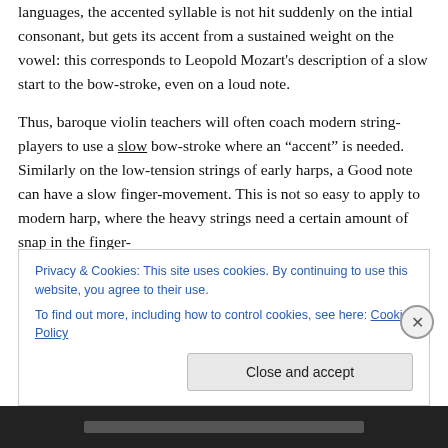languages, the accented syllable is not hit suddenly on the intial consonant, but gets its accent from a sustained weight on the vowel: this corresponds to Leopold Mozart's description of a slow start to the bow-stroke, even on a loud note.
Thus, baroque violin teachers will often coach modern string-players to use a slow bow-stroke where an “accent” is needed. Similarly on the low-tension strings of early harps, a Good note can have a slow finger-movement. This is not so easy to apply to modern harp, where the heavy strings need a certain amount of snap in the finger-
Privacy & Cookies: This site uses cookies. By continuing to use this website, you agree to their use.
To find out more, including how to control cookies, see here: Cookie Policy